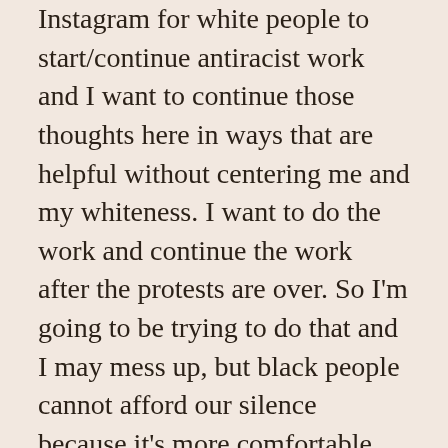Instagram for white people to start/continue antiracist work and I want to continue those thoughts here in ways that are helpful without centering me and my whiteness. I want to do the work and continue the work after the protests are over. So I'm going to be trying to do that and I may mess up, but black people cannot afford our silence because it's more comfortable for us anymore.

I still want to share what I learned throughout the month of May during this challenge but I want to begin by sharing how we as a sewing community can support black business owners. Thanks to the work of @sewnaturaldane and @onesewsweet I was able to find a number of black owned fabric stores and I'm going to link